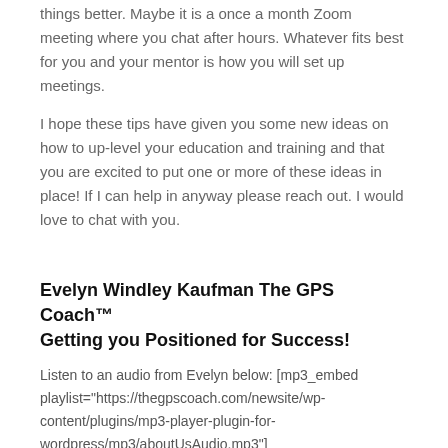things better.  Maybe it is a once a month Zoom meeting where you chat after hours.  Whatever fits best for you and your mentor is how you will set up meetings.
I hope these tips have given you some new ideas on how to up-level your education and training and that you are excited to put one or more of these ideas in place!  If I can help in anyway please reach out.  I would love to chat with you.
Evelyn Windley Kaufman The GPS Coach™ Getting you Positioned for Success!
Listen to an audio from Evelyn below: [mp3_embed playlist="https://thegpscoach.com/newsite/wp-content/plugins/mp3-player-plugin-for-wordpress/mp3/aboutUsAudio.mp3"]
Getting Positioned For Success by Evelyn Windley Kaufman